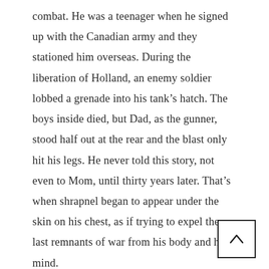combat. He was a teenager when he signed up with the Canadian army and they stationed him overseas. During the liberation of Holland, an enemy soldier lobbed a grenade into his tank’s hatch. The boys inside died, but Dad, as the gunner, stood half out at the rear and the blast only hit his legs. He never told this story, not even to Mom, until thirty years later. That’s when shrapnel began to appear under the skin on his chest, as if trying to expel the last remnants of war from his body and his mind.